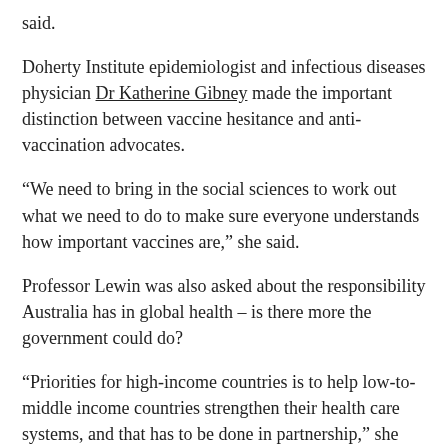said.
Doherty Institute epidemiologist and infectious diseases physician Dr Katherine Gibney made the important distinction between vaccine hesitance and anti-vaccination advocates.
“We need to bring in the social sciences to work out what we need to do to make sure everyone understands how important vaccines are,” she said.
Professor Lewin was also asked about the responsibility Australia has in global health – is there more the government could do?
“Priorities for high-income countries is to help low-to-middle income countries strengthen their health care systems, and that has to be done in partnership,” she said.
“We have a responsibility to work with these countries to